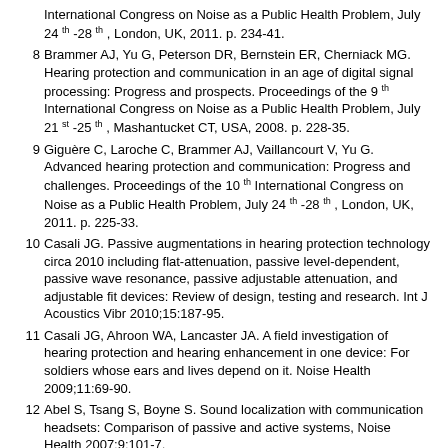International Congress on Noise as a Public Health Problem, July 24th -28th , London, UK, 2011. p. 234-41.
8 Brammer AJ, Yu G, Peterson DR, Bernstein ER, Cherniack MG. Hearing protection and communication in an age of digital signal processing: Progress and prospects. Proceedings of the 9th International Congress on Noise as a Public Health Problem, July 21st -25th , Mashantucket CT, USA, 2008. p. 228-35.
9 Giguère C, Laroche C, Brammer AJ, Vaillancourt V, Yu G. Advanced hearing protection and communication: Progress and challenges. Proceedings of the 10th International Congress on Noise as a Public Health Problem, July 24th -28th , London, UK, 2011. p. 225-33.
10 Casali JG. Passive augmentations in hearing protection technology circa 2010 including flat-attenuation, passive level-dependent, passive wave resonance, passive adjustable attenuation, and adjustable fit devices: Review of design, testing and research. Int J Acoustics Vibr 2010;15:187-95.
11 Casali JG, Ahroon WA, Lancaster JA. A field investigation of hearing protection and hearing enhancement in one device: For soldiers whose ears and lives depend on it. Noise Health 2009;11:69-90.
12 Abel S, Tsang S, Boyne S. Sound localization with communication headsets: Comparison of passive and active systems, Noise Health 2007;9:101-7.
13 Abel S, Boyne S, Roesler-Mulroney H. Sound localization with an army helmet worn in combination with an in-ear advanced communication system. Noise Health 2009;11:189-205.